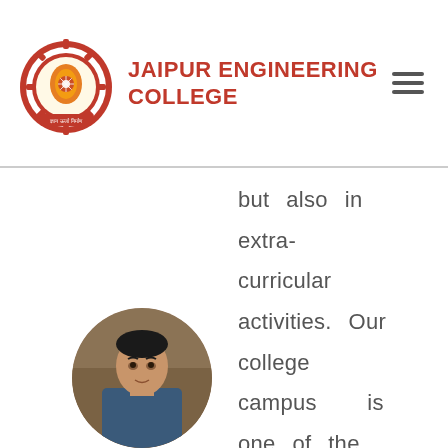JAIPUR ENGINEERING COLLEGE
but also in extra-curricular activities. Our college campus is one of the most beautiful campuses with greenery around and provides
[Figure (photo): Circular cropped photo of a young man]